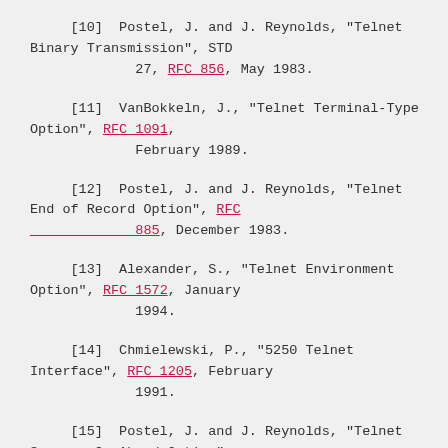[10]  Postel, J. and J. Reynolds, "Telnet Binary Transmission", STD 27, RFC 856, May 1983.
[11]  VanBokkeln, J., "Telnet Terminal-Type Option", RFC 1091, February 1989.
[12]  Postel, J. and J. Reynolds, "Telnet End of Record Option", RFC 885, December 1983.
[13]  Alexander, S., "Telnet Environment Option", RFC 1572, January 1994.
[14]  Chmielewski, P., "5250 Telnet Interface", RFC 1205, February 1991.
[15]  Postel, J. and J. Reynolds, "Telnet Supress Go Ahead Option",